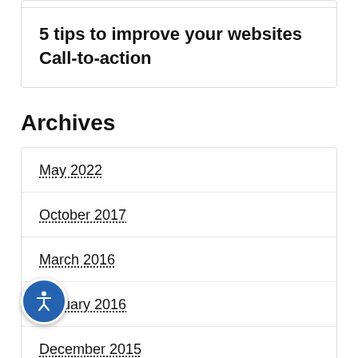5 tips to improve your websites Call-to-action
Archives
May 2022
October 2017
March 2016
January 2016
December 2015